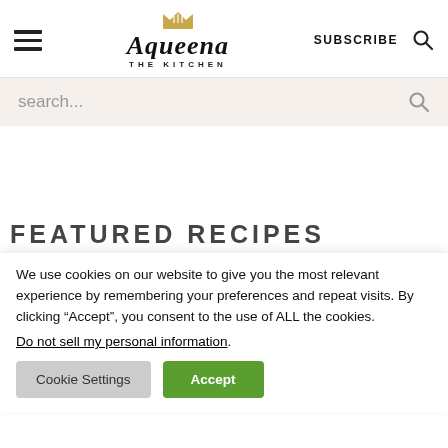[Figure (logo): Aqueena The Kitchen logo with crown icon, hamburger menu, SUBSCRIBE text and search icon in the header]
search...
FEATURED RECIPES
We use cookies on our website to give you the most relevant experience by remembering your preferences and repeat visits. By clicking “Accept”, you consent to the use of ALL the cookies.
Do not sell my personal information.
Cookie Settings
Accept